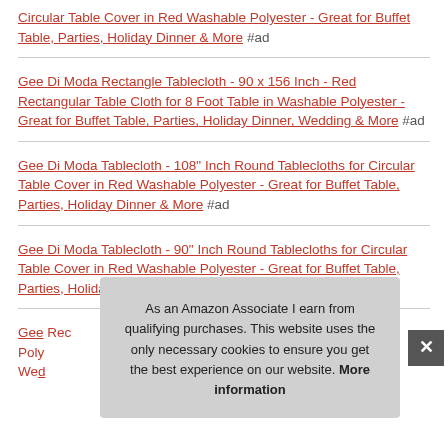Circular Table Cover in Red Washable Polyester - Great for Buffet Table, Parties, Holiday Dinner & More #ad
Gee Di Moda Rectangle Tablecloth - 90 x 156 Inch - Red Rectangular Table Cloth for 8 Foot Table in Washable Polyester - Great for Buffet Table, Parties, Holiday Dinner, Wedding & More #ad
Gee Di Moda Tablecloth - 108" Inch Round Tablecloths for Circular Table Cover in Red Washable Polyester - Great for Buffet Table, Parties, Holiday Dinner & More #ad
Gee Di Moda Tablecloth - 90" Inch Round Tablecloths for Circular Table Cover in Red Washable Polyester - Great for Buffet Table, Parties, Holiday Dinner & More #ad
Gee Di Moda Rectangle Tablecloth - 60 x 84 Inch - Red Rectangular Table Cloth ... Washable Polyester ... Wedding & More #ad
As an Amazon Associate I earn from qualifying purchases. This website uses the only necessary cookies to ensure you get the best experience on our website. More information